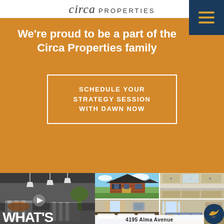circa PROPERTIES
We're proud to be a part of the Circa Properties family
SCHEDULE YOUR STRATEGY SESSION WITH DAWN NOW
[Figure (photo): Left: interior room with pendant lights and striped chairs with overlay text WHAT'S and a play button icon. Right grid: top-left brick colonial home exterior, top-right kitchen interior, bottom-left bedroom interior, bottom-right living room interior. Bottom: address bar reading 4195 Alma Avenue and a Circa Properties badge.]